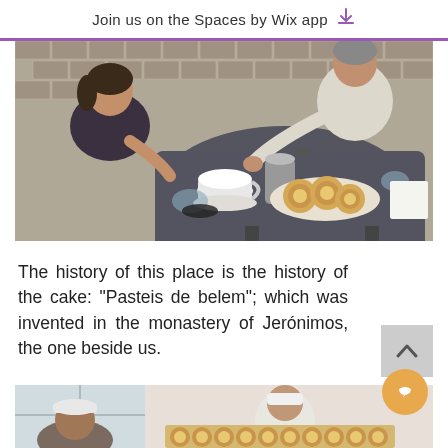Join us on the Spaces by Wix app
[Figure (photo): Overhead view of two people sitting at a café table outdoors. A woman in a dark sleeveless top on the left and a man in a white shirt on the right. On the table: a plate of pasteis de belem (Portuguese custard tarts), coffee cups, a metal coffee pot, glasses, and a white napkin holder. The ground is cobblestone.]
The history of this place is the history of the cake: “Pasteis de belem”; which was invented in the monastery of Jerónimos, the one beside us.
[Figure (photo): Partial view of a café or bakery interior. A person in a white cap is visible on the left, and another person in white with a white cap is in the background. The bottom portion shows a tray or display of pasteis de belem.]